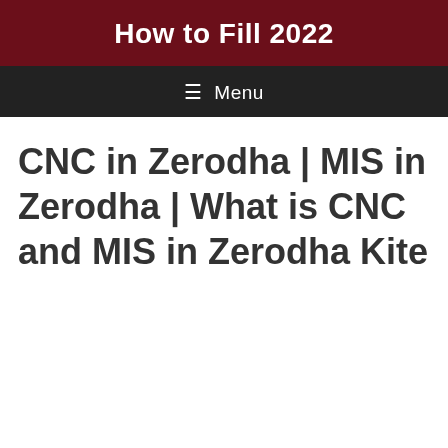How to Fill 2022
≡ Menu
CNC in Zerodha | MIS in Zerodha | What is CNC and MIS in Zerodha Kite